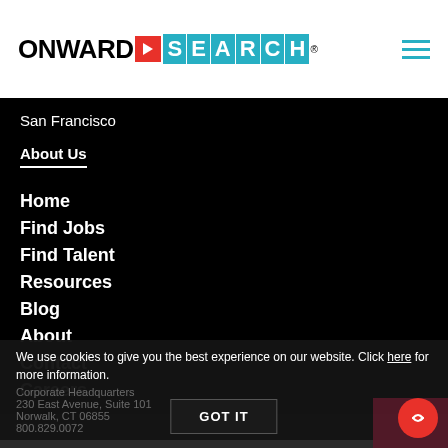ONWARD SEARCH
San Francisco
About Us
Home
Find Jobs
Find Talent
Resources
Blog
About
Contact
Careers
Contact Us
Corporate Headquarters
230 East Avenue, Suite 101
Norwalk, CT 06855
800.829.0072
We use cookies to give you the best experience on our website. Click here for more information.
GOT IT